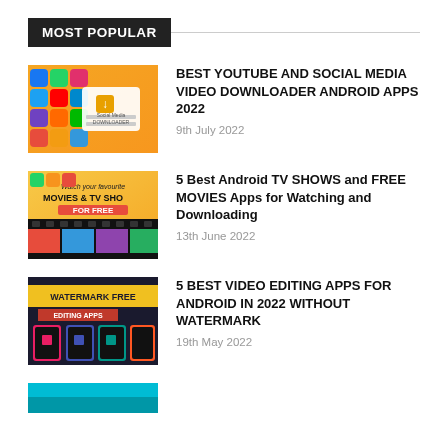MOST POPULAR
[Figure (photo): Thumbnail for YouTube social media video downloader article - orange background with app icons]
BEST YOUTUBE AND SOCIAL MEDIA VIDEO DOWNLOADER ANDROID APPS 2022
9th July 2022
[Figure (photo): Thumbnail for Android TV shows and movies apps article - film strip with movies]
5 Best Android TV SHOWS and FREE MOVIES Apps for Watching and Downloading
13th June 2022
[Figure (photo): Thumbnail for watermark free video editing apps article - dark background with app screenshots]
5 BEST VIDEO EDITING APPS FOR ANDROID IN 2022 WITHOUT WATERMARK
19th May 2022
[Figure (photo): Partial thumbnail for a fourth article - teal/green background visible]